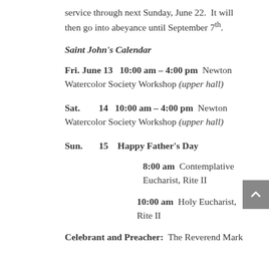service through next Sunday, June 22.  It will then go into abeyance until September 7th.
Saint John's Calendar
Fri. June 13   10:00 am – 4:00 pm  Newton Watercolor Society Workshop (upper hall)
Sat.        14   10:00 am – 4:00 pm  Newton Watercolor Society Workshop (upper hall)
Sun.        15    Happy Father's Day
8:00 am  Contemplative Eucharist, Rite II
10:00 am  Holy Eucharist, Rite II
Celebrant and Preacher:  The Reverend Mark